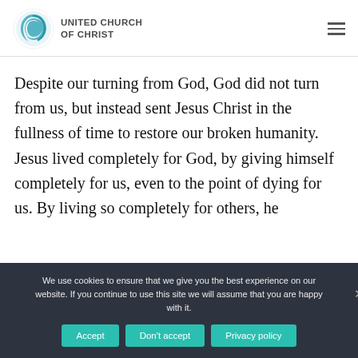[Figure (logo): United Church of Christ logo with teal swirl icon and text 'UNITED CHURCH OF CHRIST']
Despite our turning from God, God did not turn from us, but instead sent Jesus Christ in the fullness of time to restore our broken humanity. Jesus lived completely for God, by giving himself completely for us, even to the point of dying for us. By living so completely for others, he
We use cookies to ensure that we give you the best experience on our website. If you continue to use this site we will assume that you are happy with it.